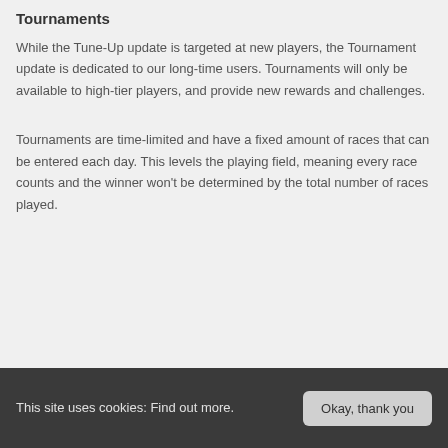Tournaments
While the Tune-Up update is targeted at new players, the Tournament update is dedicated to our long-time users. Tournaments will only be available to high-tier players, and provide new rewards and challenges.
Tournaments are time-limited and have a fixed amount of races that can be entered each day. This levels the playing field, meaning every race counts and the winner won't be determined by the total number of races played.
This site uses cookies: Find out more.  Okay, thank you